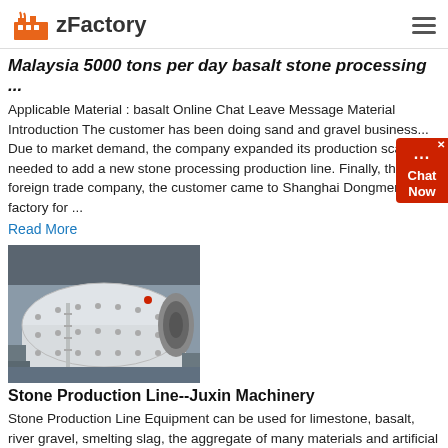zFactory
Malaysia 5000 tons per day basalt stone processing ...
Applicable Material : basalt Online Chat Leave Message Material Introduction The customer has been doing sand and gravel business... Due to market demand, the company expanded its production scale... needed to add a new stone processing production line. Finally, throu... foreign trade company, the customer came to Shanghai Dongmeng... factory for ...
Read More
[Figure (photo): Industrial ball mill / stone production line machinery - large white cylindrical drum with bolted panels in a factory setting]
Stone Production Line--Juxin Machinery
Stone Production Line Equipment can be used for limestone, basalt, river gravel, smelting slag, the aggregate of many materials and artificial sand etc. It's suitable for water and electricity, building materials, highway,